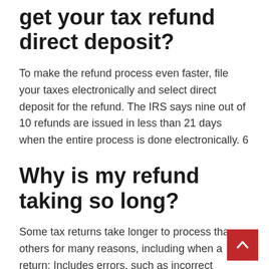get your tax refund direct deposit?
To make the refund process even faster, file your taxes electronically and select direct deposit for the refund. The IRS says nine out of 10 refunds are issued in less than 21 days when the entire process is done electronically. 6
Why is my refund taking so long?
Some tax returns take longer to process than others for many reasons, including when a return: Includes errors, such as incorrect Recovery Rebate Credit. Includes a